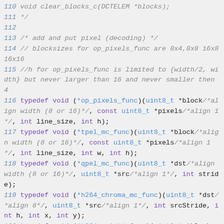Code listing lines 110-121, C header file with typedefs for pixel operation function pointers.